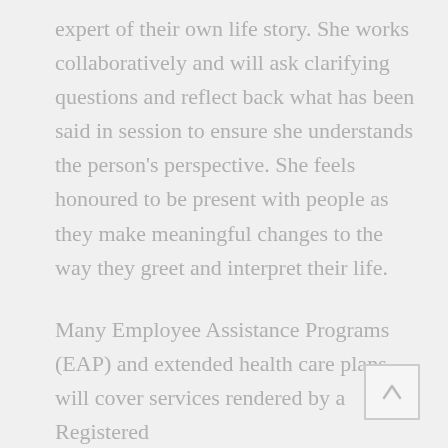expert of their own life story. She works collaboratively and will ask clarifying questions and reflect back what has been said in session to ensure she understands the person's perspective. She feels honoured to be present with people as they make meaningful changes to the way they greet and interpret their life.
Many Employee Assistance Programs (EAP) and extended health care plans will cover services rendered by a Registered